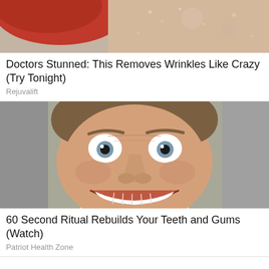[Figure (photo): Partial photo showing red object and skin-toned background, top portion of an advertisement image]
Doctors Stunned: This Removes Wrinkles Like Crazy (Try Tonight)
Rejuvalift
[Figure (photo): Man with wide eyes and a very large exaggerated smile showing white teeth, close-up face photo]
60 Second Ritual Rebuilds Your Teeth and Gums (Watch)
Patriot Health Zone